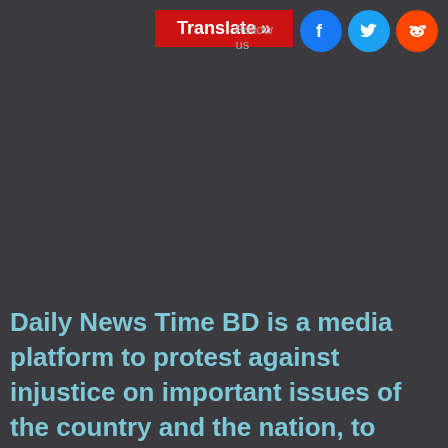[Figure (screenshot): Translate button (red), Follow text, and social media icons (Facebook, Twitter, Reddit) in the page header area on a dark background]
Daily News Time BD is a media platform to protest against injustice on important issues of the country and the nation, to highlight the helpless destitute, minorities, oppressed people, biographies and dazzling sights, to play